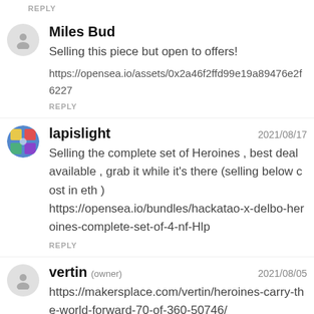REPLY
Miles Bud
Selling this piece but open to offers!
https://opensea.io/assets/0x2a46f2ffd99e19a89476e2f6227
REPLY
lapislight
2021/08/17
Selling the complete set of Heroines , best deal available , grab it while it's there (selling below cost in eth ) https://opensea.io/bundles/hackatao-x-delbo-heroines-complete-set-of-4-nf-Hlp
REPLY
vertin (owner)
2021/08/05
https://makersplace.com/vertin/heroines-carry-the-world-forward-70-of-360-50746/